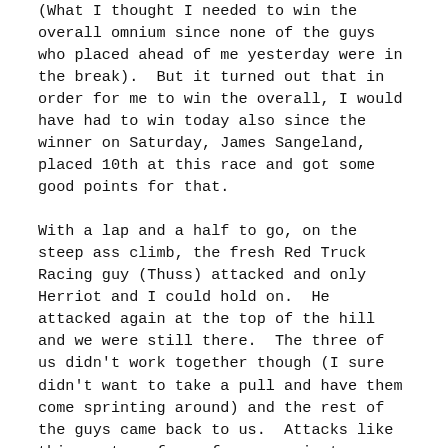(What I thought I needed to win the overall omnium since none of the guys who placed ahead of me yesterday were in the break).  But it turned out that in order for me to win the overall, I would have had to win today also since the winner on Saturday, James Sangeland, placed 10th at this race and got some good points for that.
With a lap and a half to go, on the steep ass climb, the fresh Red Truck Racing guy (Thuss) attacked and only Herriot and I could hold on.  He attacked again at the top of the hill and we were still there.  The three of us didn't work together though (I sure didn't want to take a pull and have them come sprinting around) and the rest of the guys came back to us.  Attacks like this went on for a few more minutes until things settled down.  One guy was dropped, so our break was down to six.  We called a temporary truce until the steep climb again on the